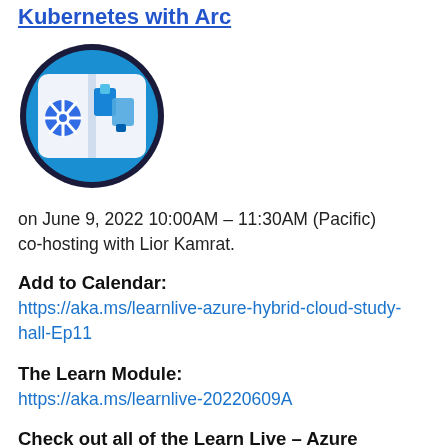Kubernetes with Arc
[Figure (logo): Circular blue logo with Kubernetes helm wheel icon and Azure Arc icons on a white book background]
on June 9, 2022 10:00AM – 11:30AM (Pacific) co-hosting with Lior Kamrat.
Add to Calendar:
https://aka.ms/learnlive-azure-hybrid-cloud-study-hall-Ep11
The Learn Module:
https://aka.ms/learnlive-20220609A
Check out all of the Learn Live – Azure Hybrid Cloud Study Hall sessions here: